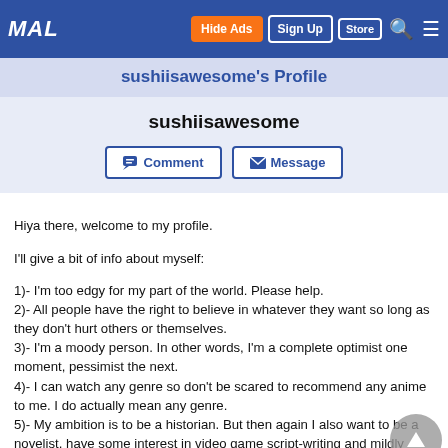MAL | Hide Ads | Sign Up | Store | Search | Menu
sushiisawesome's Profile
sushiisawesome
Comment  Message
Hiya there, welcome to my profile.

I'll give a bit of info about myself:

1)- I'm too edgy for my part of the world. Please help.
2)- All people have the right to believe in whatever they want so long as they don't hurt others or themselves.
3)- I'm a moody person. In other words, I'm a complete optimist one moment, pessimist the next.
4)- I can watch any genre so don't be scared to recommend any anime to me. I do actually mean any genre.
5)- My ambition is to be a historian. But then again I also want to be a novelist, have some interest in video game script-writing and mildly entertain doing YouTube videos. Whew.
6)- I'd love to meet any anime fans in real life; alternatively, you can contact me via Discord at sushi#8634 if you want to have a discussion.
7)- I love playing JRPGs (MegaTen, Tales, Legend of Heroes) so